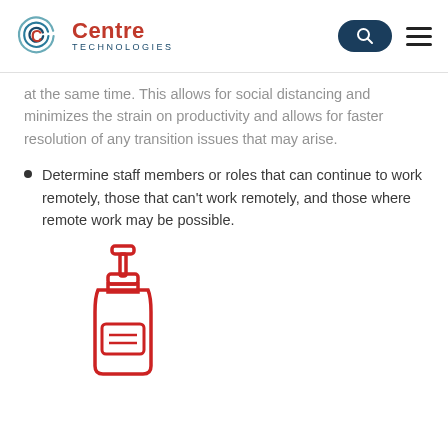Centre Technologies
at the same time. This allows for social distancing and minimizes the strain on productivity and allows for faster resolution of any transition issues that may arise.
Determine staff members or roles that can continue to work remotely, those that can't work remotely, and those where remote work may be possible.
[Figure (illustration): Red line icon of a hand sanitizer pump dispenser bottle]